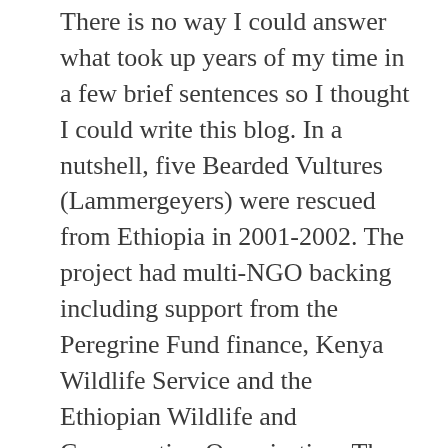There is no way I could answer what took up years of my time in a few brief sentences so I thought I could write this blog. In a nutshell, five Bearded Vultures (Lammergeyers) were rescued from Ethiopia in 2001-2002. The project had multi-NGO backing including support from the Peregrine Fund finance, Kenya Wildlife Service and the Ethiopian Wildlife and Conservation Organisation. The project was partly successful with two of five released birds surviving in the wild for years.
Our intention was to take 15 birds, some put aside for captive breeding, some for immediate release. We could easily have filled that quota with the abundance of Ethiopian nests, but logistically it